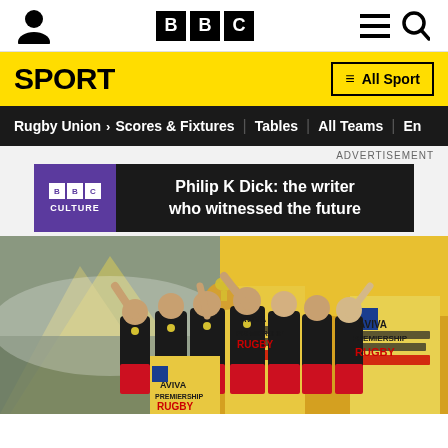BBC Sport navigation header with BBC logo, person icon, menu icon, search icon
SPORT
≡ All Sport
Rugby Union > Scores & Fixtures | Tables | All Teams | En
ADVERTISEMENT
[Figure (screenshot): BBC Culture advertisement banner: Philip K Dick: the writer who witnessed the future]
[Figure (photo): Rugby players in black and red kit celebrating with a trophy at Twickenham stadium, Aviva Premiership Rugby branding visible]